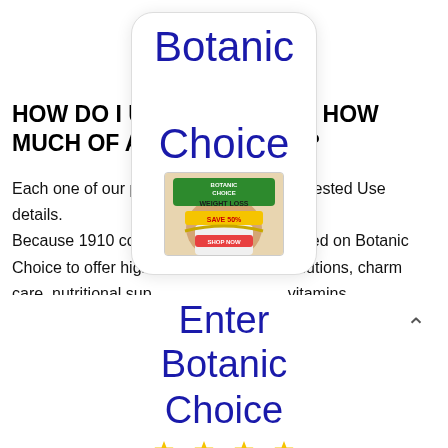HOW DO I UNDERSTAND JUST HOW MUCH OF A VITAMIN TO TAKE?
Each one of our products has Suggested Use details. Because 1910 consumers have relied on Botanic Choice to offer high quality health solutions, charm care, nutritional supplements, and vitamins. Continually boosting our products and services to provide you the bonus you won't find anywhere else.
[Figure (logo): Botanic Choice logo card with rounded rectangle border, showing 'Botanic Choice' text in large blue font]
[Figure (photo): Botanic Choice Weight Loss Save 50% advertisement image showing a person's midsection with a measuring tape]
Enter Botanic Choice
[Figure (other): Yellow star rating icons at bottom of page]